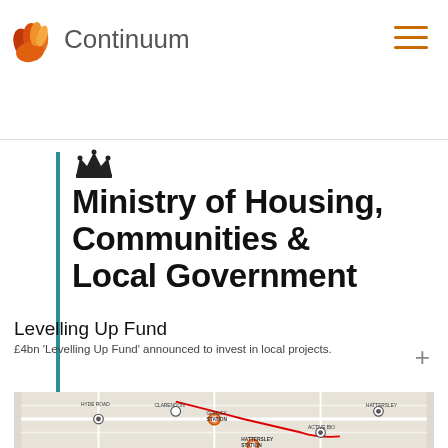Continuum
[Figure (logo): Ministry of Housing, Communities & Local Government logo with crown symbol and teal vertical bar]
Ministry of Housing, Communities & Local Government
Levelling Up Fund
£4bn 'Levelling Up Fund' announced to invest in local projects.
[Figure (map): Street map showing local area with location pins and highlighted route in red, including stations and landmarks]